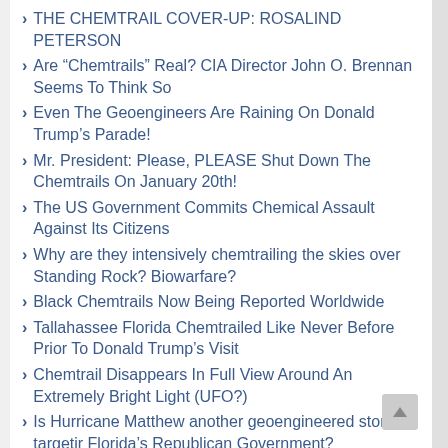THE CHEMTRAIL COVER-UP: ROSALIND PETERSON
Are “Chemtrails” Real? CIA Director John O. Brennan Seems To Think So
Even The Geoengineers Are Raining On Donald Trump’s Parade!
Mr. President: Please, PLEASE Shut Down The Chemtrails On January 20th!
The US Government Commits Chemical Assault Against Its Citizens
Why are they intensively chemtrailing the skies over Standing Rock? Biowarfare?
Black Chemtrails Now Being Reported Worldwide
Tallahassee Florida Chemtrailed Like Never Before Prior To Donald Trump’s Visit
Chemtrail Disappears In Full View Around An Extremely Bright Light (UFO?)
Is Hurricane Matthew another geoengineered storm targeting Florida’s Republican Government?
Hurricane Hermine: Geoengineered Storm Targets the Capitol